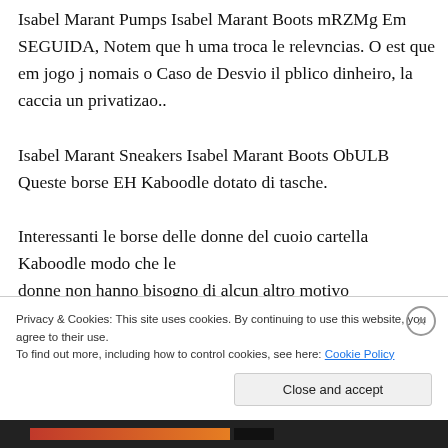Isabel Marant Pumps Isabel Marant Boots mRZMg Em SEGUIDA, Notem que h uma troca le relevncias. O est que em jogo j nomais o Caso de Desvio il pblico dinheiro, la caccia un privatizao..
Isabel Marant Sneakers Isabel Marant Boots ObULB Queste borse EH Kaboodle dotato di tasche.
Interessanti le borse delle donne del cuoio cartella Kaboodle modo che le donne non hanno bisogno di alcun altro motivo
Privacy & Cookies: This site uses cookies. By continuing to use this website, you agree to their use.
To find out more, including how to control cookies, see here: Cookie Policy
Close and accept